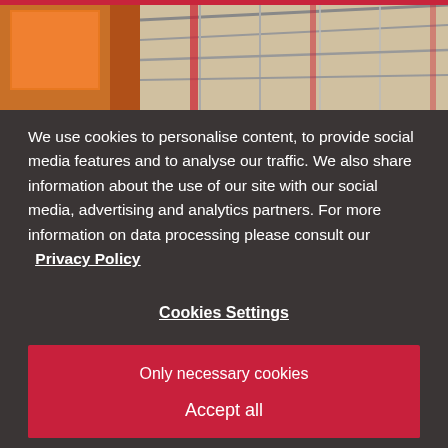[Figure (photo): Partial view of a building interior with orange artwork and red steel structural framework visible against a light background, cropped at the top of the overlay.]
We use cookies to personalise content, to provide social media features and to analyse our traffic. We also share information about the use of our site with our social media, advertising and analytics partners. For more information on data processing please consult our Privacy Policy
Cookies Settings
Only necessary cookies
Accept all